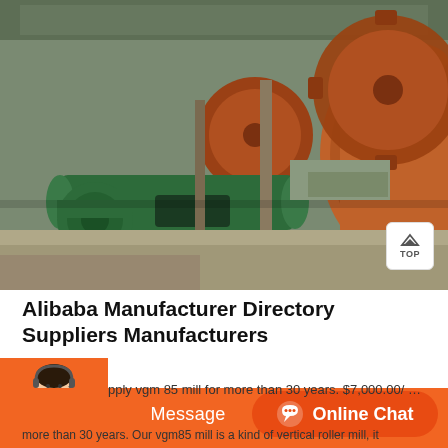[Figure (photo): Industrial ball mill machine with green motors and large orange/rust-colored gears, photographed in an outdoor or semi-covered industrial facility.]
Alibaba Manufacturer Directory Suppliers Manufacturers
pply vgm 85 mill for more than 30 years. $7,000.00/ Set. 1 Set
more than 30 years. Our vgm85 mill is a kind of vertical roller mill, it